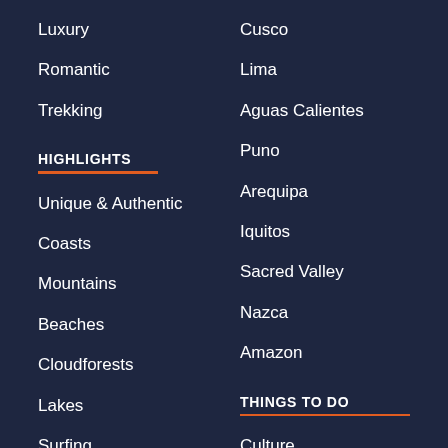Luxury
Romantic
Trekking
HIGHLIGHTS
Unique & Authentic
Coasts
Mountains
Beaches
Cloudforests
Lakes
Surfing
Cusco
Lima
Aguas Calientes
Puno
Arequipa
Iquitos
Sacred Valley
Nazca
Amazon
THINGS TO DO
Culture